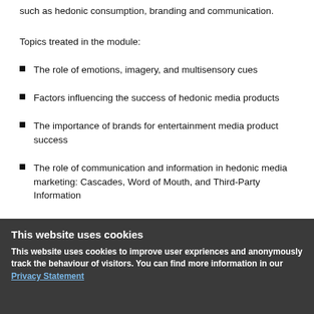such as hedonic consumption, branding and communication.
Topics treated in the module:
The role of emotions, imagery, and multisensory cues
Factors influencing the success of hedonic media products
The importance of brands for entertainment media product success
The role of communication and information in hedonic media marketing: Cascades, Word of Mouth, and Third-Party Information
The aim of this module is that students understand the theoretical and practical implications of managing entertainment media products and are able to steer marketing activities accordingly.
Lecturers
This website uses cookies
This website uses cookies to improve user expriences and anonymously track the behaviour of visitors. You can find more information in our Privacy Statement